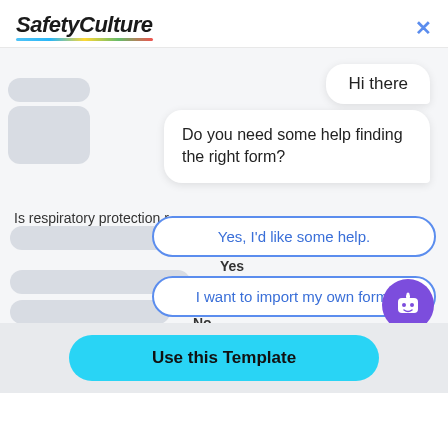[Figure (screenshot): SafetyCulture logo with colorful underline and close (X) button in top header]
[Figure (screenshot): Chat widget overlay on a form. Shows 'Hi there' speech bubble, 'Do you need some help finding the right form?' message, and three response buttons: 'Yes, I'd like some help.', 'I want to import my own form.', 'No, I'm good. Thanks!' overlapping a partially visible form with 'Is respiratory protection r...' question and Yes/No/N/A options. Bottom bar shows 'Use this Template' button and purple bot icon.]